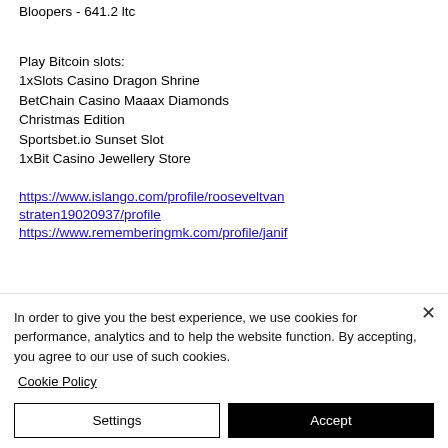Bloopers - 641.2 ltc
Play Bitcoin slots:
1xSlots Casino Dragon Shrine
BetChain Casino Maaax Diamonds Christmas Edition
Sportsbet.io Sunset Slot
1xBit Casino Jewellery Store
https://www.islango.com/profile/rooseveltvanstraten19020937/profile
https://www.rememberingmk.com/profile/janif
In order to give you the best experience, we use cookies for performance, analytics and to help the website function. By accepting, you agree to our use of such cookies.
Cookie Policy
Settings
Accept